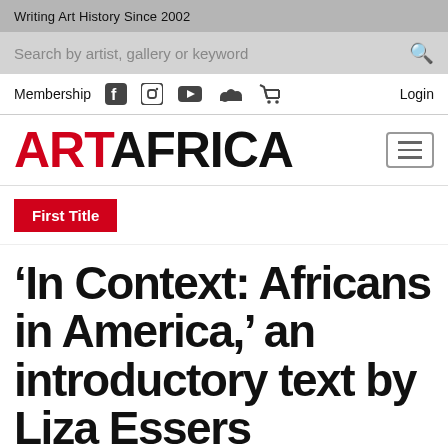Writing Art History Since 2002
[Figure (screenshot): Search bar with placeholder text 'Search by artist, gallery or keyword' and a magnifying glass icon]
Membership  Login
ARTAFRICA
First Title
‘In Context: Africans in America,’ an introductory text by Liza Essers